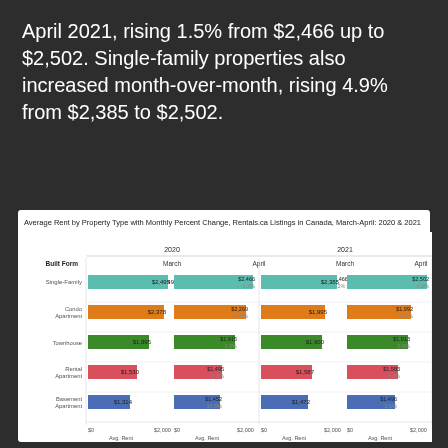April 2021, rising 1.5% from $2,466 up to $2,502. Single-family properties also increased month-over-month, rising 4.9% from $2,385 to $2,502.
[Figure (grouped-bar-chart): Average Rent by Property Type with Monthly Percent Change, Rentals.ca Listings in Canada, March-April: 2020 & 2021]